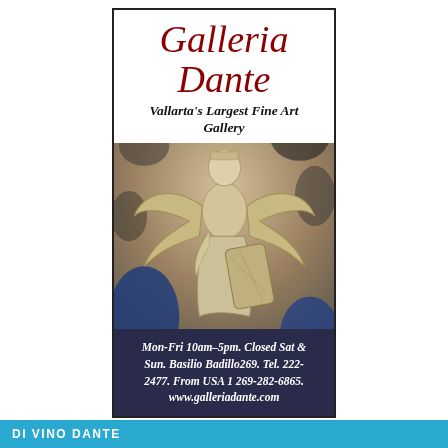Galleria Dante
Vallarta's Largest Fine Art Gallery
[Figure (photo): Stone/marble sculpture of a winged figure (angel) in relief, set against a mottled background with blue accents]
Mon-Fri 10am-5pm. Closed Sat & Sun. Basilio Badillo269. Tel. 222-2477. From USA 1 269-282-6865. www.galleriadante.com
DI VINO DANTE